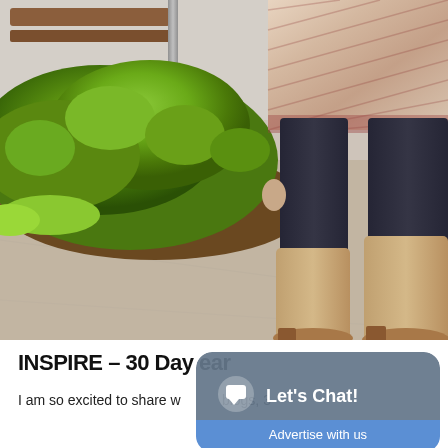[Figure (photo): Outdoor photo of a person from the waist down wearing a patterned boho-style tunic, dark leggings, and tall tan/beige knee-high boots, standing on a concrete sidewalk beside a rounded hedge planter with green shrubs.]
INSPIRE – 30 Day ...ear
I am so excited to share w... blogs, 3...
[Figure (screenshot): Chat widget overlay with 'Let's Chat!' button and 'Advertise with us' bar, displayed over the lower-right portion of the page.]